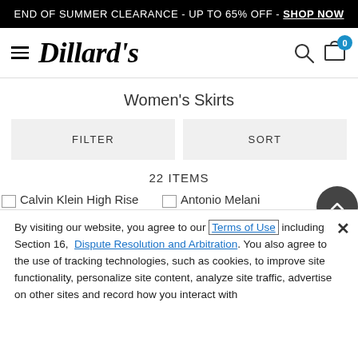END OF SUMMER CLEARANCE - UP TO 65% OFF - SHOP NOW
[Figure (logo): Dillard's logo with hamburger menu, search icon, and cart icon with badge 0]
Women's Skirts
FILTER
SORT
22 ITEMS
Calvin Klein High Rise
Antonio Melani
By visiting our website, you agree to our Terms of Use including Section 16, Dispute Resolution and Arbitration. You also agree to the use of tracking technologies, such as cookies, to improve site functionality, personalize site content, analyze site traffic, advertise on other sites and record how you interact with